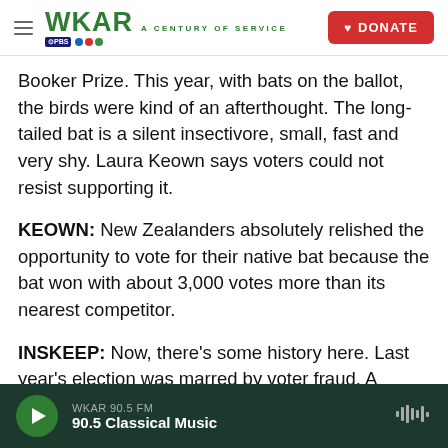WKAR A CENTURY OF SERVICE | DONATE
Booker Prize. This year, with bats on the ballot, the birds were kind of an afterthought. The long-tailed bat is a silent insectivore, small, fast and very shy. Laura Keown says voters could not resist supporting it.
KEOWN: New Zealanders absolutely relished the opportunity to vote for their native bat because the bat won with about 3,000 votes more than its nearest competitor.
INSKEEP: Now, there's some history here. Last year's election was marred by voter fraud. A hacker
WKAR 90.5 FM | 90.5 Classical Music